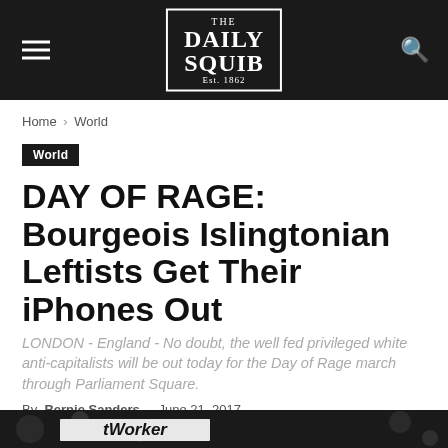THE DAILY SQUIB Est. 1862
Home › World
World
DAY OF RAGE: Bourgeois Islingtonian Leftists Get Their iPhones Out
LONDON - England - No doubt, the well fed privileged white anti-capitalists will be out today for the Day of Rage march through Parliament Square.
By Bernie Sanders - June 21, 2017
[Figure (photo): Black and white photo showing a protest sign with the word 'Worker' visible]